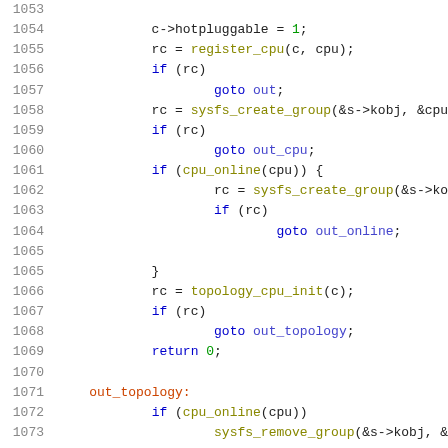[Figure (other): Source code listing (C language) showing lines 1053-1073 with syntax highlighting. Line numbers in gray, keywords in blue, goto labels in dark blue, function names in olive/yellow, numeric literals in green.]